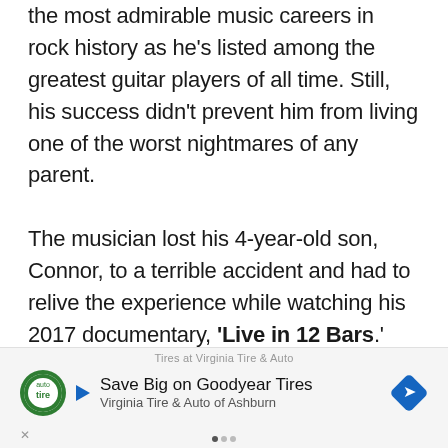the most admirable music careers in rock history as he's listed among the greatest guitar players of all time. Still, his success didn't prevent him from living one of the worst nightmares of any parent.

The musician lost his 4-year-old son, Connor, to a terrible accident and had to relive the experience while watching his 2017 documentary, 'Live in 12 Bars.' Let's travel back in time together to see how Clapton reacted to seeing the footage of his late son years after the heartbreaking accident.
[Figure (screenshot): Advertisement banner: Virginia Tire & Auto - Save Big on Goodyear Tires]